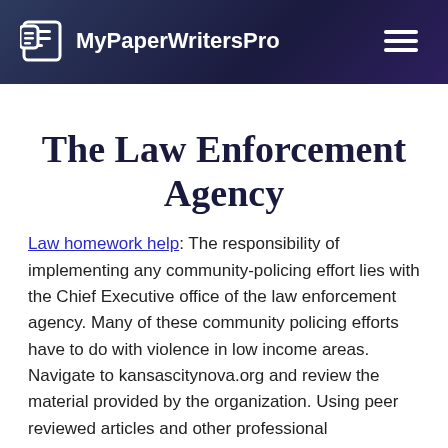MyPaperWritersPro
The Law Enforcement Agency
Law homework help: The responsibility of implementing any community-policing effort lies with the Chief Executive office of the law enforcement agency. Many of these community policing efforts have to do with violence in low income areas. Navigate to kansascitynova.org and review the material provided by the organization. Using peer reviewed articles and other professional publications including local newspapers, search for information about Kansas City Nova and